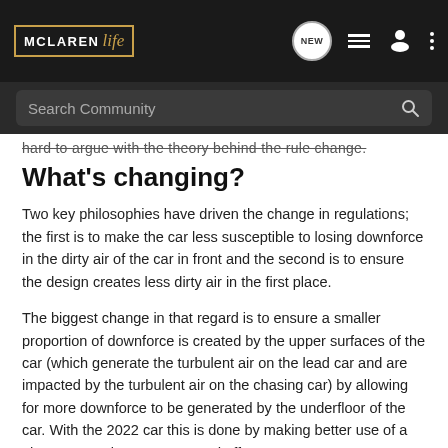[Figure (screenshot): McLaren Life website navigation bar with logo, NEW chat icon, list icon, user icon, and dots menu icon on dark background]
[Figure (screenshot): Search Community search bar on dark background with magnifying glass icon]
hard to argue with the theory behind the rule change.
What's changing?
Two key philosophies have driven the change in regulations; the first is to make the car less susceptible to losing downforce in the dirty air of the car in front and the second is to ensure the design creates less dirty air in the first place.
The biggest change in that regard is to ensure a smaller proportion of downforce is created by the upper surfaces of the car (which generate the turbulent air on the lead car and are impacted by the turbulent air on the chasing car) by allowing for more downforce to be generated by the underfloor of the car. With the 2022 car this is done by making better use of a phenomenon known as ground effect.